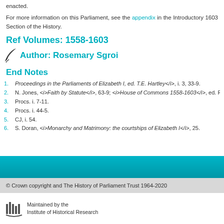enacted.
For more information on this Parliament, see the appendix in the Introductory 1603 Section of the History.
Ref Volumes: 1558-1603
Author: Rosemary Sgroi
End Notes
1. <i>Proceedings in the Parliaments of Elizabeth I, ed. T.E. Hartley</i>, i. 3, 33-9.
2. N. Jones, <i>Faith by Statute</i>, 63-9; <i>House of Commons 1558-1603</i>, ed. P.W. Ha...
3. Procs. i. 7-11.
4. Procs. i. 44-5.
5. CJ, i. 54.
6. S. Doran, <i>Monarchy and Matrimony: the courtships of Elizabeth I</i>, 25.
© Crown copyright and The History of Parliament Trust 1964-2020
Maintained by the Institute of Historical Research